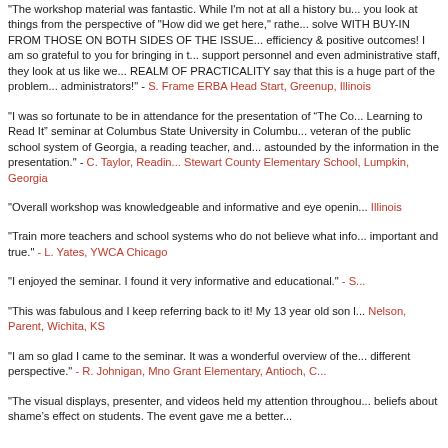"The workshop material was fantastic. While I'm not at all a history buff, you look at things from the perspective of "How did we get here," rather than solve WITH BUY-IN FROM THOSE ON BOTH SIDES OF THE ISSUE, efficiency & positive outcomes! I am so grateful to you for bringing in the support personnel and even administrative staff, they look at us like we REALM OF PRACTICALITY say that this is a huge part of the problem administrators!" - S. Frame ERBA Head Start, Greenup, Illinois
"I was so fortunate to be in attendance for the presentation of “The Code Learning to Read It” seminar at Columbus State University in Columbus veteran of the public school system of Georgia, a reading teacher, and astounded by the information in the presentation." - C. Taylor, Reading Stewart County Elementary School, Lumpkin, Georgia
"Overall workshop was knowledgeable and informative and eye opening Illinois
"Train more teachers and school systems who do not believe what info important and true." - L. Yates, YWCA Chicago
"I enjoyed the seminar. I found it very informative and educational." - S
"This was fabulous and I keep referring back to it! My 13 year old son Nelson, Parent, Wichita, KS
"I am so glad I came to the seminar. It was a wonderful overview of the different perspective." - R. Johnigan, Mno Grant Elementary, Antioch, C
"The visual displays, presenter, and videos held my attention throughout beliefs about shame's effect on students. The event gave me a better